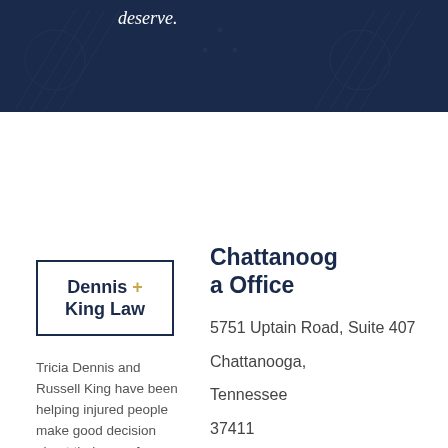deserve.
[Figure (logo): Dennis + King Law logo — rectangular border with firm name in navy and gold plus sign]
Tricia Dennis and Russell King have been helping injured people make good decision about their case for more than 75 years combined. Their practice covers
Chattanooga Office
5751 Uptain Road, Suite 407 Chattanooga, Tennessee 37411
office@dennisandking.com